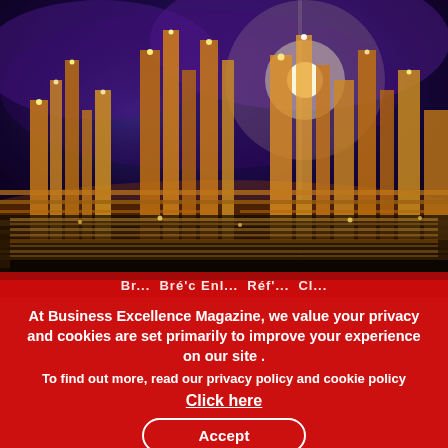[Figure (photo): Night-time aerial view of an industrial oil refinery with illuminated towers, pipes, and equipment against a dramatic dark purple and blue sky]
Br... Bré'c Enl... Réf'... Cl...
At Business Excellence Magazine, we value your privacy and cookies are set primarily to improve your experience on our site .
To find out more, read our privacy policy and cookie policy
Click here
Accept